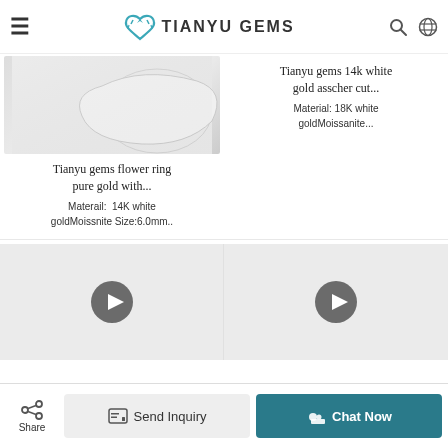TIANYU GEMS
[Figure (photo): Partial product image of a ring on white background]
Tianyu gems flower ring pure gold with...
Materail:  14K white goldMoissnite Size:6.0mm..
Tianyu gems 14k white gold asscher cut...
Material: 18K white goldMoissanite...
[Figure (screenshot): Video thumbnail with play button - left]
[Figure (screenshot): Video thumbnail with play button - right]
Share | Send Inquiry | Chat Now